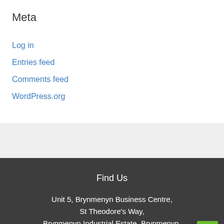Meta
Log in
Entries feed
Comments feed
WordPress.org
Find Us
Unit 5, Brynmenyn Business Centre, St Theodore's Way, Brynmenyn Industrial Estate, Brynmenyn, Bridgend,